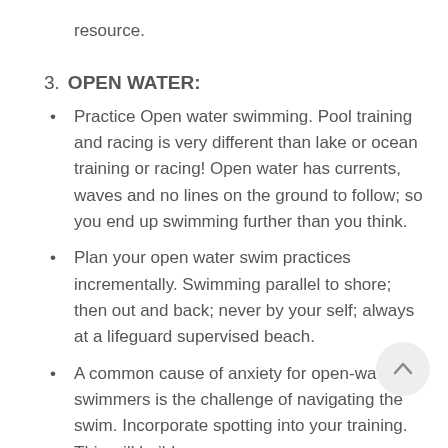resource.
3. OPEN WATER:
Practice Open water swimming. Pool training and racing is very different than lake or ocean training or racing! Open water has currents, waves and no lines on the ground to follow; so you end up swimming further than you think.
Plan your open water swim practices incrementally. Swimming parallel to shore; then out and back; never by your self; always at a lifeguard supervised beach.
A common cause of anxiety for open-water swimmers is the challenge of navigating the swim. Incorporate spotting into your training. This will build your